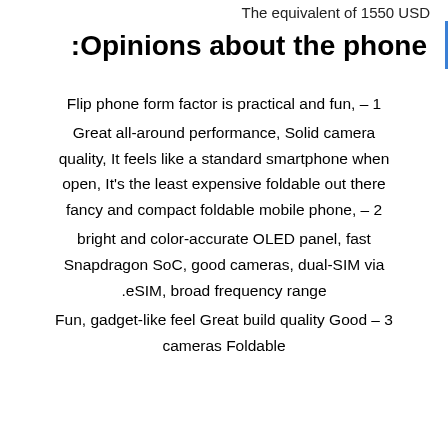The equivalent of 1550 USD
:Opinions about the phone
Flip phone form factor is practical and fun, – 1
Great all-around performance, Solid camera quality, It feels like a standard smartphone when open, It's the least expensive foldable out there fancy and compact foldable mobile phone, – 2
bright and color-accurate OLED panel, fast Snapdragon SoC, good cameras, dual-SIM via eSIM, broad frequency range.
Fun, gadget-like feel Great build quality Good – 3 cameras Foldable